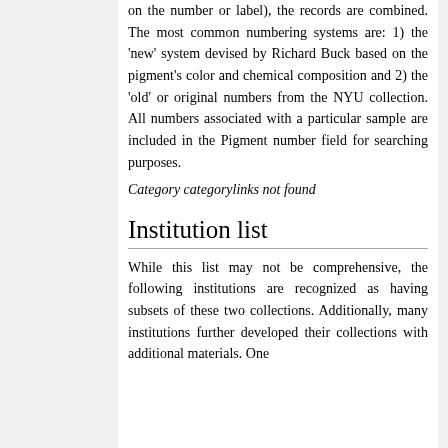on the number or label), the records are combined. The most common numbering systems are: 1) the 'new' system devised by Richard Buck based on the pigment's color and chemical composition and 2) the 'old' or original numbers from the NYU collection. All numbers associated with a particular sample are included in the Pigment number field for searching purposes.
Category categorylinks not found
Institution list
While this list may not be comprehensive, the following institutions are recognized as having subsets of these two collections. Additionally, many institutions further developed their collections with additional materials. One